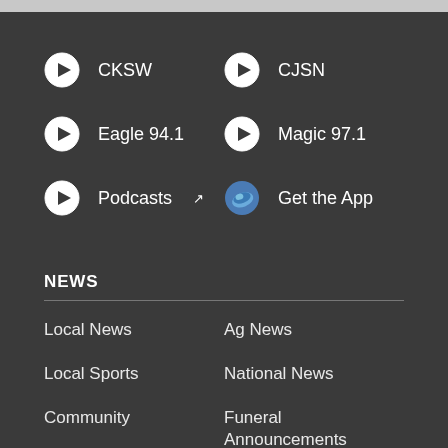CKSW
CJSN
Eagle 94.1
Magic 97.1
Podcasts
Get the App
NEWS
Local News
Ag News
Local Sports
National News
Community
Funeral Announcements